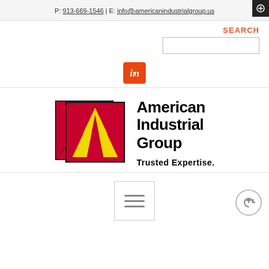P: 913-669-1546 | E: info@americanindustrialgroup.us
SEARCH
[Figure (logo): LinkedIn icon - orange/red rounded square with white 'in' text]
[Figure (logo): American Industrial Group logo: red square with yellow triangle 'A' shape, beside bold text reading 'American Industrial Group' and tagline 'Trusted Expertise.']
[Figure (other): Hamburger menu icon (three horizontal lines) in a light bordered square button]
[Figure (other): Back to top circular arrow button]